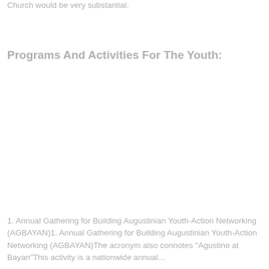Church would be very substantial.
Programs And Activities For The Youth:
1. Annual Gathering for Building Augustinian Youth-Action Networking (AGBAYAN)1. Annual Gathering for Building Augustinian Youth-Action Networking (AGBAYAN)The acronym also connotes "Agustino at Bayan"This activity is a nationwide annual...